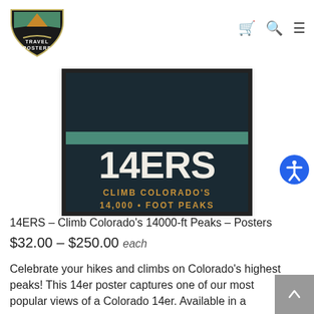[Figure (logo): Travel Posters shield-shaped logo with mountain and road illustration]
[Figure (illustration): 14ERS – Climb Colorado's 14,000-Foot Peaks poster product image on dark teal background]
14ERS – Climb Colorado's 14000-ft Peaks – Posters
$32.00 – $250.00 each
Celebrate your hikes and climbs on Colorado's highest peaks! This 14er poster captures one of our most popular views of a Colorado 14er. Available in a